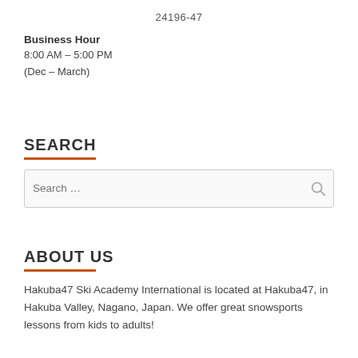24196-47
Business Hour
8:00 AM – 5:00 PM
(Dec – March)
SEARCH
ABOUT US
Hakuba47 Ski Academy International is located at Hakuba47, in Hakuba Valley, Nagano, Japan. We offer great snowsports lessons from kids to adults!